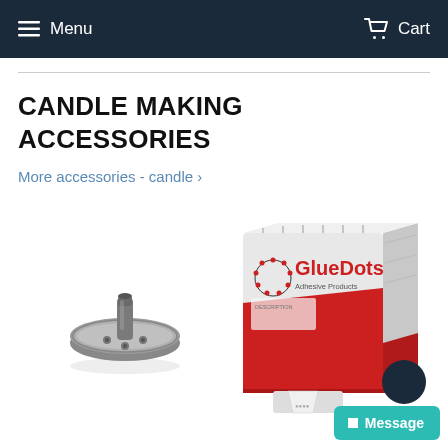Menu   Cart
CANDLE MAKING ACCESSORIES
More accessories - candle ›
[Figure (photo): Metal wick holder tab for candle making — a small round metallic disc with a centered tube, photographed on white background]
[Figure (photo): GlueDots Adhesive Products box — red and white dispensing box with GlueDots branding and logo, dispensing adhesive dots]
Message